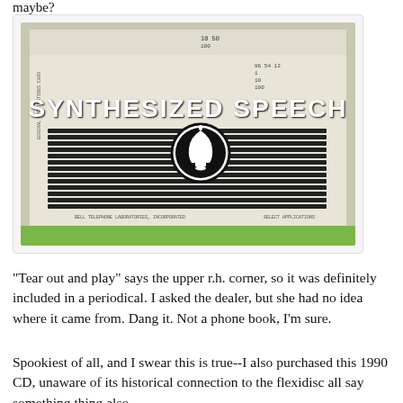maybe?
[Figure (photo): A punched paper card or disk labeled 'SYNTHESIZED SPEECH' with a Bell Telephone Laboratories logo (bell in a circle) and dense rows of punched holes. Green border visible at bottom.]
"Tear out and play" says the upper r.h. corner, so it was definitely included in a periodical. I asked the dealer, but she had no idea where it came from. Dang it. Not a phone book, I'm sure.
Spookiest of all, and I swear this is true--I also purchased this 1990 CD, unaware of its historical connection to the flexidisc all say something thing also.